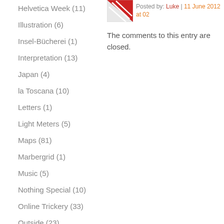Helvetica Week (11)
Illustration (6)
Insel-Bücherei (1)
Interpretation (13)
Japan (4)
la Toscana (10)
Letters (1)
Light Meters (5)
Maps (81)
Marbergrid (1)
Music (5)
Nothing Special (10)
Online Trickery (33)
Outside (23)
Pelican Books (21)
Penguin Books (59)
[Figure (logo): Red geometric logo with diagonal lines]
Posted by: Luke | 11 June 2012 at 02...
The comments to this entry are closed.